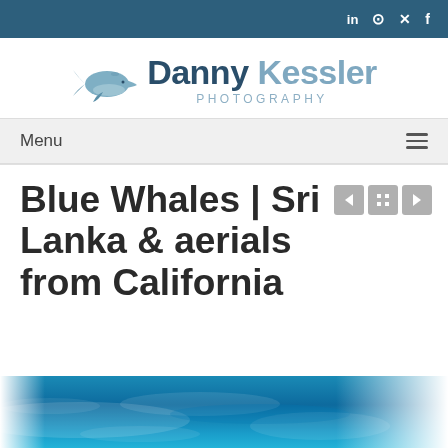Social icons: LinkedIn, Instagram, Twitter, Facebook
[Figure (logo): Danny Kessler Photography logo with blue whale illustration and text]
Menu
Blue Whales | Sri Lanka & aerials from California
[Figure (photo): Blue ocean water surface from above, vibrant turquoise blue]